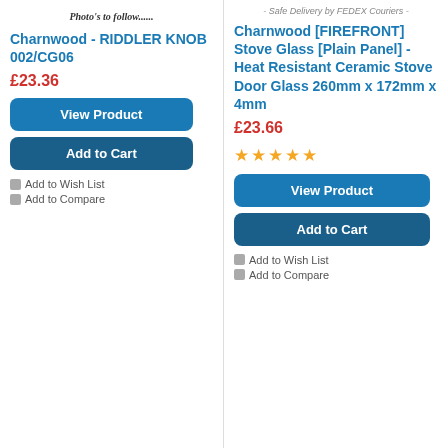[Figure (photo): Photo placeholder with text 'Photo's to follow......']
Charnwood - RIDDLER KNOB 002/CG06
£23.36
View Product
Add to Cart
Add to Wish List
Add to Compare
- Safe Delivery by FEDEX Couriers -
Charnwood [FIREFRONT] Stove Glass [Plain Panel] - Heat Resistant Ceramic Stove Door Glass 260mm x 172mm x 4mm
£23.66
[Figure (other): 5 orange star rating]
View Product
Add to Cart
Add to Wish List
Add to Compare